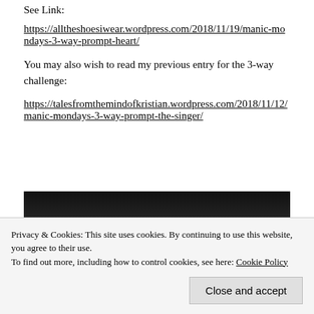See Link:
https://alltheshoesiwear.wordpress.com/2018/11/19/manic-mondays-3-way-prompt-heart/
You may also wish to read my previous entry for the 3-way challenge:
https://talesfromthemindofkristian.wordpress.com/2018/11/12/manic-mondays-3-way-prompt-the-singer/
[Figure (photo): A close-up photo of hands holding pink flowers, upper portion showing dark background]
Privacy & Cookies: This site uses cookies. By continuing to use this website, you agree to their use.
To find out more, including how to control cookies, see here: Cookie Policy
Close and accept